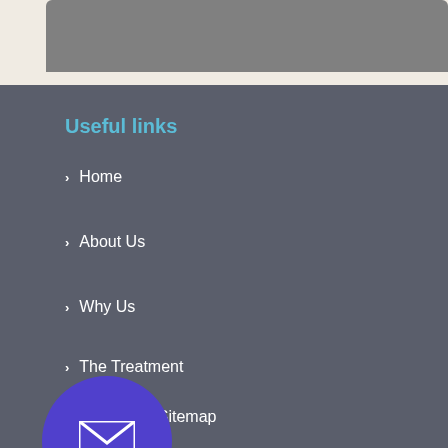[Figure (screenshot): Gray box at top representing a partial webpage header image area on a beige/cream background]
Useful links
› Home
› About Us
› Why Us
› The Treatment
› L Sitemap
[Figure (illustration): Blue/purple circular email contact button with envelope icon]